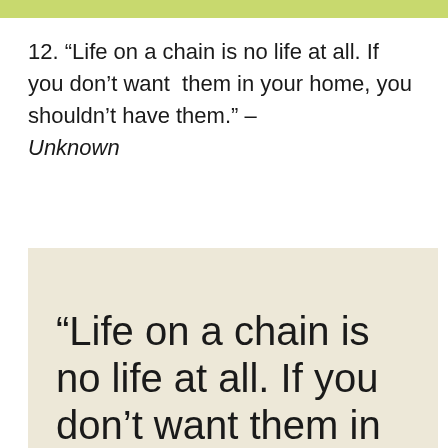12. “Life on a chain is no life at all. If you don’t want them in your home, you shouldn’t have them.” – Unknown
[Figure (illustration): Beige/cream background image card showing large text: “Life on a chain is no life at all. If you don’t want them in your home…” in a thin rounded sans-serif font.]